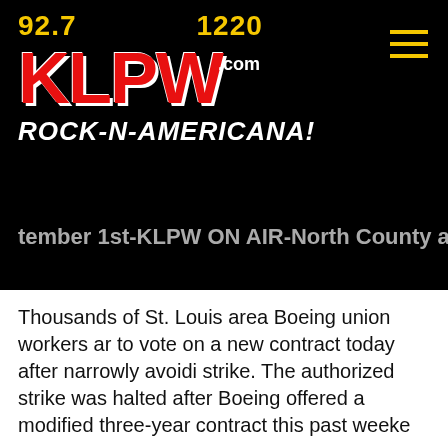[Figure (logo): KLPW radio station logo with frequencies 92.7 and 1220, red KLPW text with .com, tagline ROCK-N-AMERICANA! on black background]
tember 1st-KLPW ON AIR-North County at St. Clair-
Thousands of St. Louis area Boeing union workers are to vote on a new contract today after narrowly avoiding strike. The authorized strike was halted after Boeing offered a modified three-year contract this past weeke
...More
Missouri Teacher Sentenced to 30 Years for